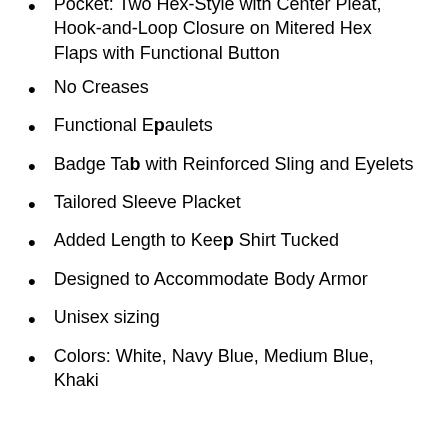Pocket: Two Hex-Style with Center Pleat, Hook-and-Loop Closure on Mitered Hex Flaps with Functional Button
No Creases
Functional Epaulets
Badge Tab with Reinforced Sling and Eyelets
Tailored Sleeve Placket
Added Length to Keep Shirt Tucked
Designed to Accommodate Body Armor
Unisex sizing
Colors: White, Navy Blue, Medium Blue, Khaki